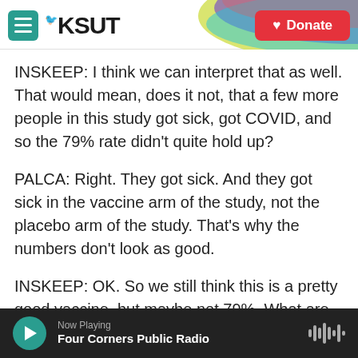KSUT | Donate
INSKEEP: I think we can interpret that as well. That would mean, does it not, that a few more people in this study got sick, got COVID, and so the 79% rate didn't quite hold up?
PALCA: Right. They got sick. And they got sick in the vaccine arm of the study, not the placebo arm of the study. That's why the numbers don't look as good.
INSKEEP: OK. So we still think this is a pretty good vaccine, but maybe not 79%. What are the implications for actually getting this approved in the
Now Playing — Four Corners Public Radio